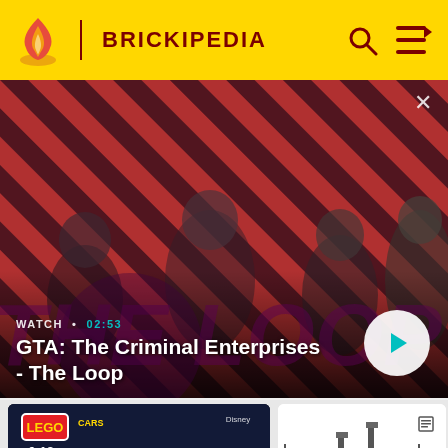BRICKIPEDIA
[Figure (screenshot): Video banner for GTA: The Criminal Enterprises - The Loop, showing four characters on a red diagonal striped background. White play button on right. Watch duration 02:53 shown. Large purple THE LOOP text in background.]
GTA: The Criminal Enterprises - The Loop
[Figure (photo): LEGO Cars Ultimate Race Set box art showing Lightning McQueen and other Cars characters, ages 6-12]
[Figure (photo): LEGO Cars racing set assembled models on white background]